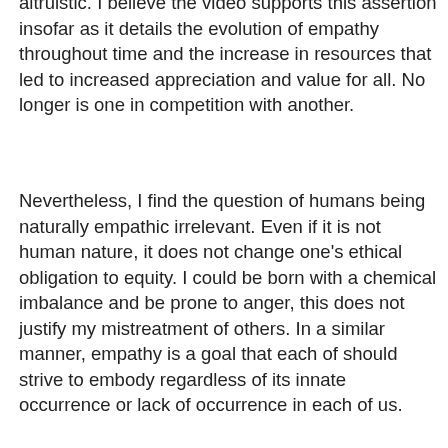altruistic. I believe the video supports this assertion insofar as it details the evolution of empathy throughout time and the increase in resources that led to increased appreciation and value for all. No longer is one in competition with another.
Nevertheless, I find the question of humans being naturally empathic irrelevant. Even if it is not human nature, it does not change one's ethical obligation to equity. I could be born with a chemical imbalance and be prone to anger, this does not justify my mistreatment of others. In a similar manner, empathy is a goal that each of should strive to embody regardless of its innate occurrence or lack of occurrence in each of us.